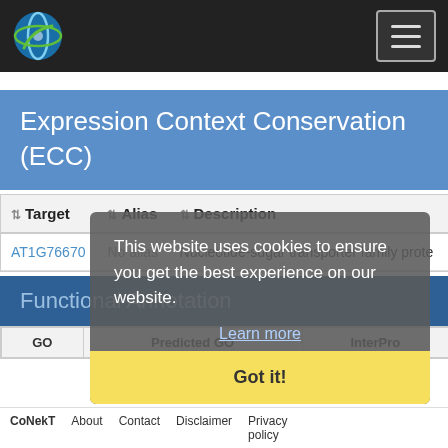CoNekT [logo] [menu]
Expression Context Conservation (ECC)
| Target | Alias | Description |
| --- | --- | --- |
| AT1G76670 | No alias | Nucleotide-sugar transporter family prote... |
Functional Annotation
| GO | Predicted GO | InterPro |
| --- | --- | --- |
This website uses cookies to ensure you get the best experience on our website.
Learn more
Got it!
CoNekT  About  Contact  Disclaimer  Privacy policy